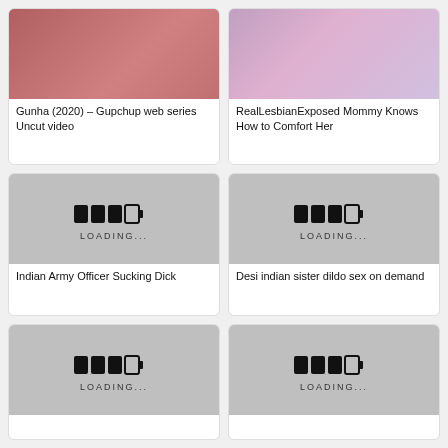[Figure (photo): Thumbnail photo for video card 1]
Gunha (2020) – Gupchup web series Uncut video
[Figure (photo): Thumbnail photo for video card 2]
RealLesbianExposed Mommy Knows How to Comfort Her
[Figure (photo): Loading placeholder thumbnail for video card 3]
Indian Army Officer Sucking Dick
[Figure (photo): Loading placeholder thumbnail for video card 4]
Desi indian sister dildo sex on demand
[Figure (photo): Loading placeholder thumbnail for video card 5]
[Figure (photo): Loading placeholder thumbnail for video card 6]